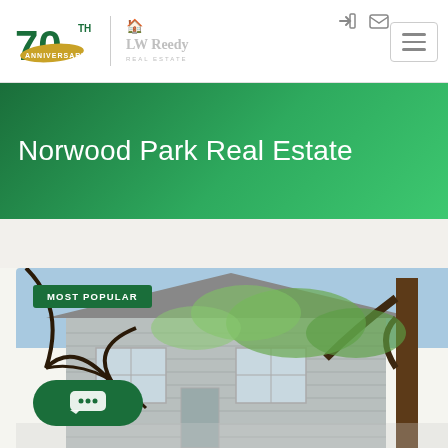LW Reedy Real Estate - 70th Anniversary
Norwood Park Real Estate
[Figure (photo): Exterior photo of a residential house with gray siding, trees in foreground with spring leaves, with a 'MOST POPULAR' badge overlay and a green chat button in the lower left corner.]